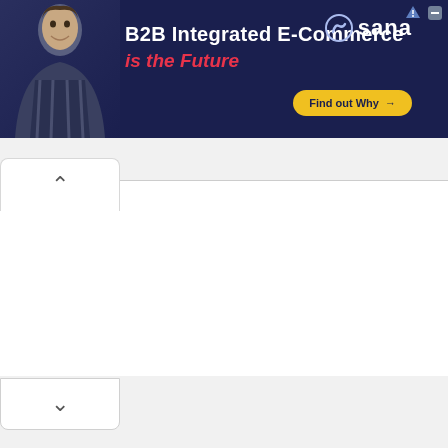[Figure (other): Advertisement banner for Sana B2B Integrated E-Commerce. Dark navy background with a man in a plaid shirt on the left, bold white text 'B2B Integrated E-Commerce' and red italic text 'is the Future', Sana logo top-right, yellow 'Find out Why →' button bottom-right, and small ad icons top-right corner.]
^
v